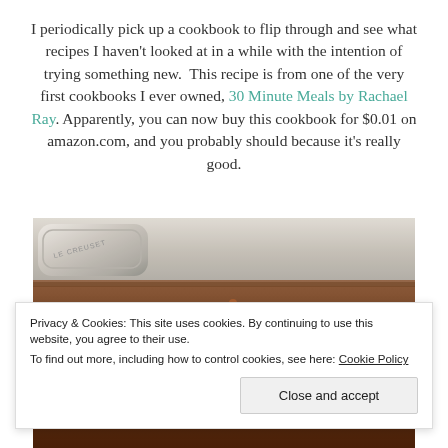I periodically pick up a cookbook to flip through and see what recipes I haven't looked at in a while with the intention of trying something new.  This recipe is from one of the very first cookbooks I ever owned, 30 Minute Meals by Rachael Ray. Apparently, you can now buy this cookbook for $0.01 on amazon.com, and you probably should because it's really good.
[Figure (photo): Close-up photo of a Le Creuset cooking pan with food (appears to be a stew or sauce) inside, showing the silver/grey rim and handle of the pot.]
Privacy & Cookies: This site uses cookies. By continuing to use this website, you agree to their use.
To find out more, including how to control cookies, see here: Cookie Policy